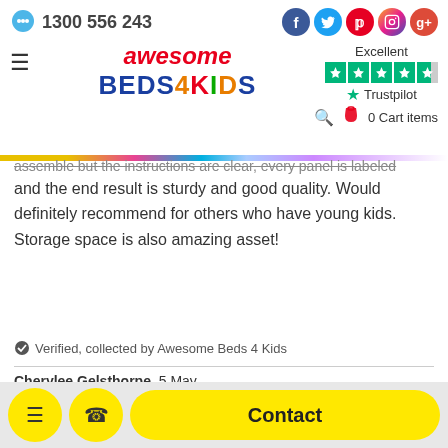1300 556 243 | Awesome Beds 4 Kids | Excellent Trustpilot rating | 0 Cart items
assemble but the instructions are clear, every panel is labeled and the end result is sturdy and good quality. Would definitely recommend for others who have young kids. Storage space is also amazing asset!
✓ Verified, collected by Awesome Beds 4 Kids
Cherylee Gelsthorpe, 5 May
[Figure (other): 5-star Trustpilot rating stars (teal/green)]
Customers also viewed
Menu | Call | Contact